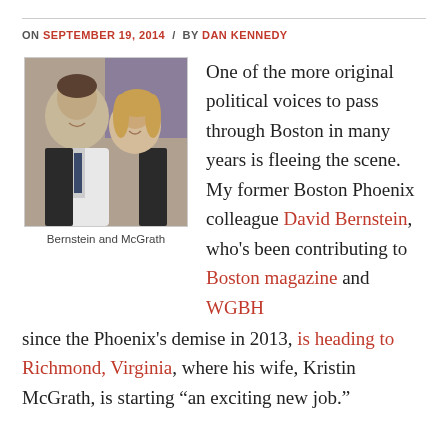ON SEPTEMBER 19, 2014 / BY DAN KENNEDY
[Figure (photo): Photo of Bernstein and McGrath, a man and woman smiling together]
Bernstein and McGrath
One of the more original political voices to pass through Boston in many years is fleeing the scene. My former Boston Phoenix colleague David Bernstein, who's been contributing to Boston magazine and WGBH since the Phoenix's demise in 2013, is heading to Richmond, Virginia, where his wife, Kristin McGrath, is starting “an exciting new job.”